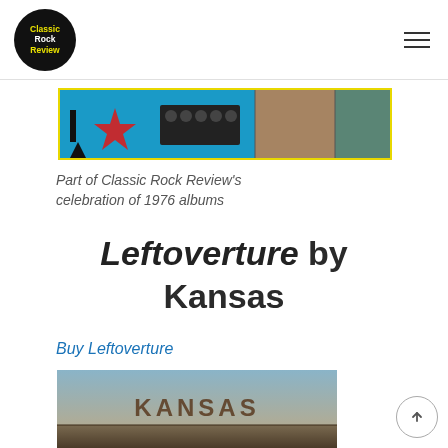Classic Rock Review
[Figure (photo): Horizontal banner strip showing a collage of 1976 album covers on a blue background with yellow border]
Part of Classic Rock Review's celebration of 1976 albums
Leftoverture by Kansas
Buy Leftoverture
[Figure (photo): Kansas Leftoverture album cover showing the band name in stone-carved letters against a dramatic sky background]